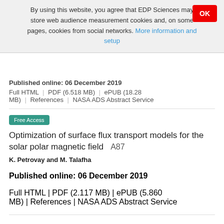By using this website, you agree that EDP Sciences may store web audience measurement cookies and, on some pages, cookies from social networks. More information and setup
Published online: 06 December 2019
Full HTML | PDF (6.518 MB) | ePUB (18.28 MB) | References | NASA ADS Abstract Service
Free Access
Optimization of surface flux transport models for the solar polar magnetic field   A87
K. Petrovay and M. Talafha
Published online: 06 December 2019
Full HTML | PDF (2.117 MB) | ePUB (5.860 MB) | References | NASA ADS Abstract Service
Free Access